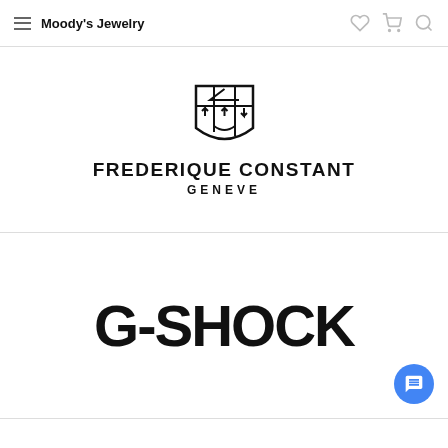Moody's Jewelry
[Figure (logo): Frederique Constant Geneve logo with shield/crest emblem above text FREDERIQUE CONSTANT GENEVE]
[Figure (logo): G-SHOCK logo in large bold black block letters]